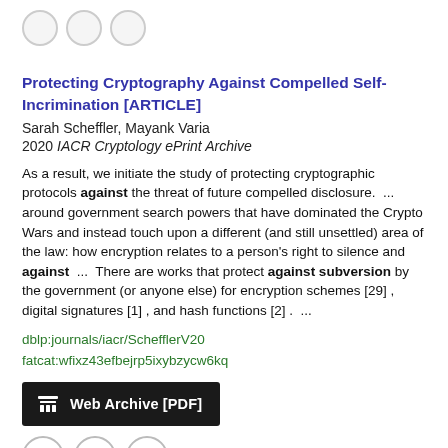Protecting Cryptography Against Compelled Self-Incrimination [ARTICLE]
Sarah Scheffler, Mayank Varia
2020 IACR Cryptology ePrint Archive
As a result, we initiate the study of protecting cryptographic protocols against the threat of future compelled disclosure.  ... around government search powers that have dominated the Crypto Wars and instead touch upon a different (and still unsettled) area of the law: how encryption relates to a person's right to silence and against  ...  There are works that protect against subversion by the government (or anyone else) for encryption schemes [29] , digital signatures [1] , and hash functions [2] .  ...
dblp:journals/iacr/SchefflerV20
fatcat:wfixz43efbejrp5ixybzycw6kq
Web Archive [PDF]
Cryptographic Primitives that Resist Backdooring and